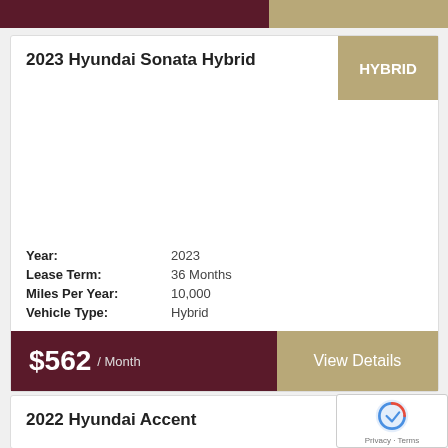2023 Hyundai Sonata Hybrid
| Field | Value |
| --- | --- |
| Year: | 2023 |
| Lease Term: | 36 Months |
| Miles Per Year: | 10,000 |
| Vehicle Type: | Hybrid |
$562 / Month
View Details
2022 Hyundai Accent
INQUIRE FOR PRICE